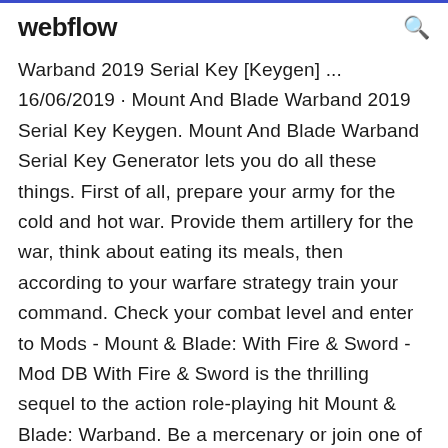webflow
Warband 2019 Serial Key [Keygen] ... 16/06/2019 · Mount And Blade Warband 2019 Serial Key Keygen. Mount And Blade Warband Serial Key Generator lets you do all these things. First of all, prepare your army for the cold and hot war. Provide them artillery for the war, think about eating its meals, then according to your warfare strategy train your command. Check your combat level and enter to Mods - Mount & Blade: With Fire & Sword - Mod DB With Fire & Sword is the thrilling sequel to the action role-playing hit Mount & Blade: Warband. Be a mercenary or join one of the five battling factions to conquer, destroy or create empires. Game Fix / Crack: Mount and